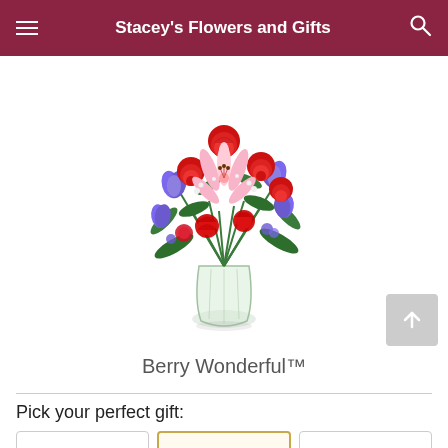Stacey's Flowers and Gifts
[Figure (photo): Floral arrangement called Berry Wonderful in a glass vase, featuring red roses, pink lilies, purple/blue iris flowers, red carnations, and green foliage]
Berry Wonderful™
Pick your perfect gift: